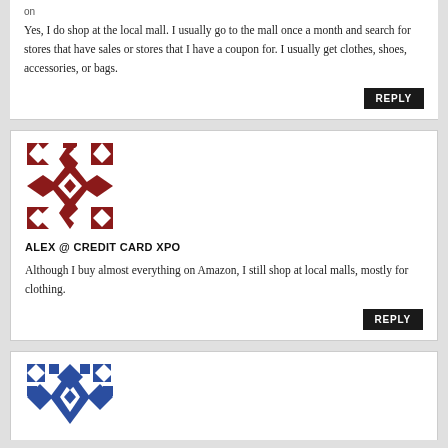Yes, I do shop at the local mall. I usually go to the mall once a month and search for stores that have sales or stores that I have a coupon for. I usually get clothes, shoes, accessories, or bags.
[Figure (illustration): Red and white geometric quilt-pattern avatar icon for Alex @ Credit Card XPO]
ALEX @ CREDIT CARD XPO
Although I buy almost everything on Amazon, I still shop at local malls, mostly for clothing.
[Figure (illustration): Blue and white geometric quilt-pattern avatar icon, partially visible at bottom]